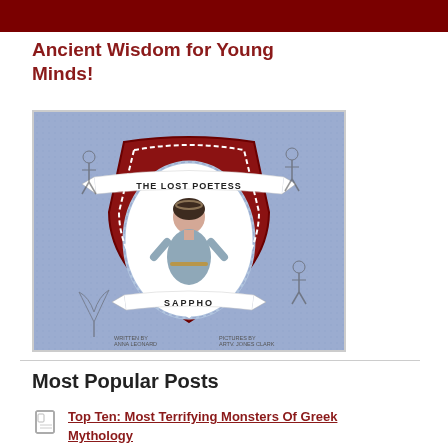[Figure (illustration): Top dark red/maroon banner strip at top of page]
Ancient Wisdom for Young Minds!
[Figure (illustration): Book cover illustration: 'The Lost Poetess - Sappho'. Blue textured background with decorative shield shape in red and white. Center shows a Greek woman figure with dark curly hair wearing a laurel crown and grey dress. Banner at top reads 'THE LOST POETESS' and banner at bottom reads 'SAPPHO'. Smaller Greek figures around the corners. Author names at bottom: Anna Leonard, Art: Jones Clark.]
Most Popular Posts
Top Ten: Most Terrifying Monsters Of Greek Mythology